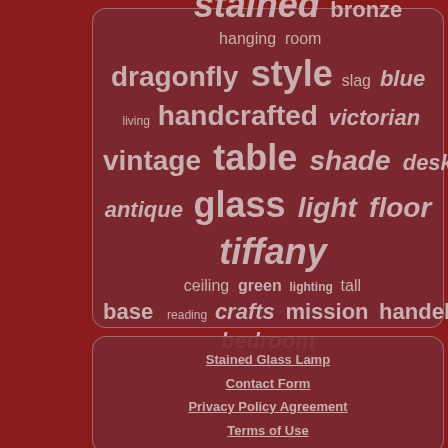[Figure (other): Word cloud on dark red/maroon rounded rectangle background. Words related to stained glass lamps including: stained, bronze, hanging, room, dragonfly, style, slag, blue, living, handcrafted, victorian, vintage, table, shade, desk, antique, glass, light, floor, tiffany, ceiling, green, lighting, tall, base, reading, crafts, mission, handel, bedroom]
Stained Glass Lamp
Contact Form
Privacy Policy Agreement
Terms of Use